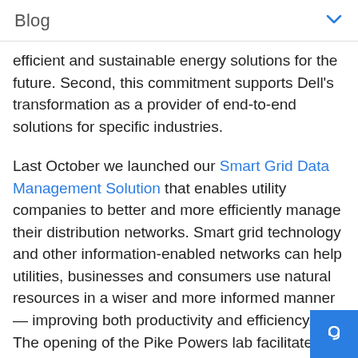Blog
efficient and sustainable energy solutions for the future. Second, this commitment supports Dell's transformation as a provider of end-to-end solutions for specific industries.
Last October we launched our Smart Grid Data Management Solution that enables utility companies to better and more efficiently manage their distribution networks. Smart grid technology and other information-enabled networks can help utilities, businesses and consumers use natural resources in a wiser and more informed manner — improving both productivity and efficiency.  The opening of the Pike Powers lab facilitates further research to support this commitment.
Jeff Gillespey (far right), Dell's energy global practice lead, Don Lindsay (far left), utilities business development manager, and John Pflueger (second from left), principal